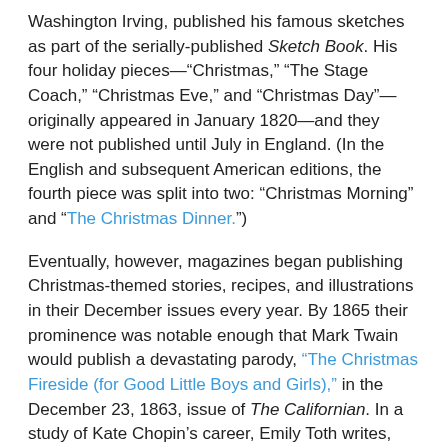Washington Irving, published his famous sketches as part of the serially-published Sketch Book. His four holiday pieces—"Christmas," "The Stage Coach," "Christmas Eve," and "Christmas Day"—originally appeared in January 1820—and they were not published until July in England. (In the English and subsequent American editions, the fourth piece was split into two: "Christmas Morning" and "The Christmas Dinner.")
Eventually, however, magazines began publishing Christmas-themed stories, recipes, and illustrations in their December issues every year. By 1865 their prominence was notable enough that Mark Twain would publish a devastating parody, "The Christmas Fireside (for Good Little Boys and Girls)," in the December 23, 1863, issue of The Californian. In a study of Kate Chopin's career, Emily Toth writes, "The market for conversion and happily-ever-after stories for Christmas and Easter was immense. It was also one of the best sources of income and recognition for professional writers." It was a Christmas story that first brought Chopin to the attention of a national audience when it was syndicated by the American Press Association.